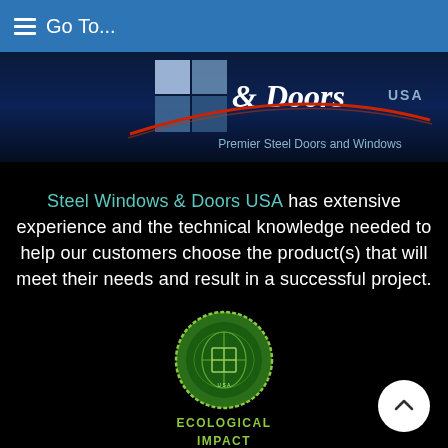Go To...
[Figure (logo): Steel Windows & Doors USA logo with window pane graphic, red arc swoosh, and tagline 'Premier Steel Doors and Windows' on dark blue background]
Steel Windows & Doors USA has extensive experience and the technical knowledge needed to help our customers choose the product(s) that will meet their needs and result in a successful project.
[Figure (logo): Circular green ecological badge/seal with Steel Windows & Doors branding]
ECOLOGICAL IMPACT STATEMENT